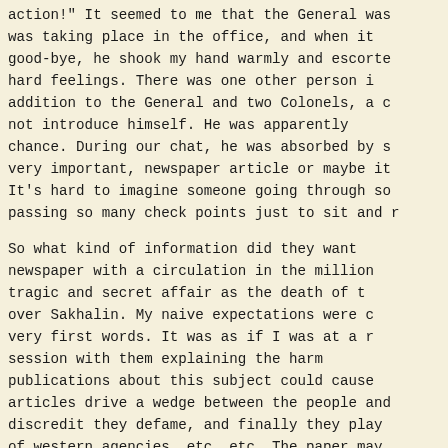action!" It seemed to me that the General was taking place in the office, and when it good-bye, he shook my hand warmly and escorte hard feelings. There was one other person i addition to the General and two Colonels, a c not introduce himself. He was apparently chance. During our chat, he was absorbed by s very important, newspaper article or maybe it It's hard to imagine someone going through s passing so many check points just to sit and r
So what kind of information did they want newspaper with a circulation in the millio tragic and secret affair as the death of t over Sakhalin. My naive expectations were c very first words. It was as if I was at a r session with them explaining the harm publications about this subject could cause articles drive a wedge between the people an discredit they defame, and finally they pla of western agencies, etc, etc. The paper ma with the president in his conduct of importa affairs. The only information, which I broug was that I would get no information from the m